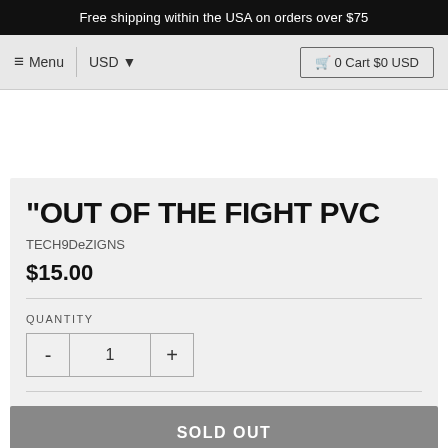Free shipping within the USA on orders over $75
Menu  USD  0 Cart $0 USD
"OUT OF THE FIGHT PVC
TECH9DeZIGNS
$15.00
QUANTITY
- 1 +
SOLD OUT